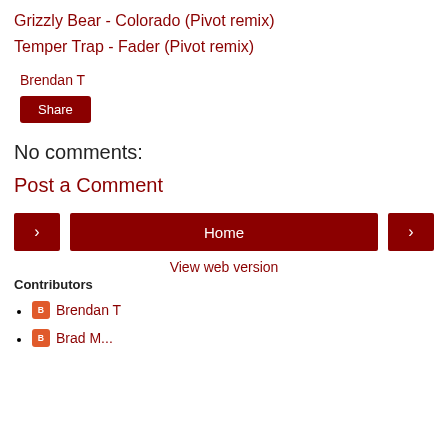Grizzly Bear - Colorado (Pivot remix)
Temper Trap - Fader (Pivot remix)
Brendan T
Share
No comments:
Post a Comment
Home
View web version
Contributors
Brendan T
Brad M...